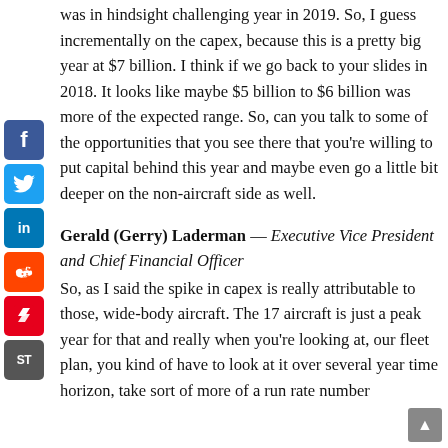was in hindsight challenging year in 2019. So, I guess incrementally on the capex, because this is a pretty big year at $7 billion. I think if we go back to your slides in 2018. It looks like maybe $5 billion to $6 billion was more of the expected range. So, can you talk to some of the opportunities that you see there that you're willing to put capital behind this year and maybe even go a little bit deeper on the non-aircraft side as well.
Gerald (Gerry) Laderman — Executive Vice President and Chief Financial Officer
So, as I said the spike in capex is really attributable to those, wide-body aircraft. The 17 aircraft is just a peak year for that and really when you're looking at, our fleet plan, you kind of have to look at it over several year time horizon, take sort of more of a run rate number